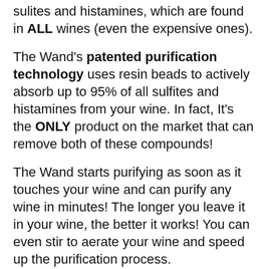sulites and histamines, which are found in ALL wines (even the expensive ones).
The Wand's patented purification technology uses resin beads to actively absorb up to 95% of all sulfites and histamines from your wine. In fact, It's the ONLY product on the market that can remove both of these compounds!
The Wand starts purifying as soon as it touches your wine and can purify any wine in minutes! The longer you leave it in your wine, the better it works! You can even stir to aerate your wine and speed up the purification process.
Finally…you can enjoy wine without the nasty side effects!